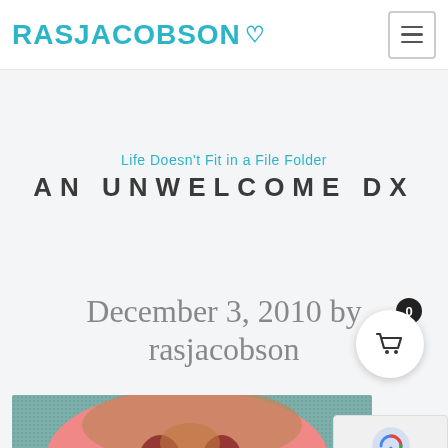RASJACOBSON
Life Doesn't Fit in a File Folder
AN UNWELCOME DX
December 3, 2010 by rasjacobson
[Figure (illustration): Close-up illustration of a pink face/nose area with teal/green background, dark nostril details visible]
[Figure (other): reCAPTCHA widget with privacy and terms text]